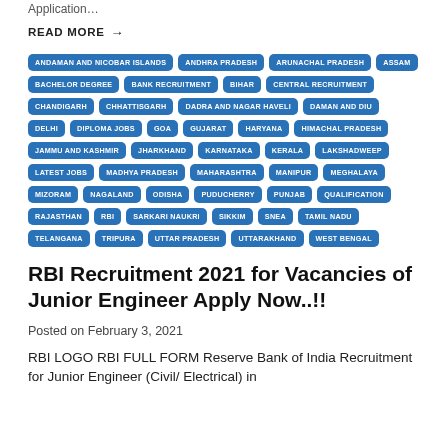Application…
READ MORE →
ANDAMAN AND NICOBAR ISLANDS
ANDHRA PRADESH
ARUNACHAL PRADESH
ASSAM
BACHELOR DEGREE
BANK RECRUITMENT
BIHAR
CENTRAL RECRUITMENT
CHANDIGARH
CHHATTISGARH
DADRA AND NAGAR HAVELI
DAMAN AND DIU
DELHI
DIPLOMA JOBS
GOA
GUJARAT
HARYANA
HIMACHAL PRADESH
JAMMU AND KASHMIR
JHARKHAND
KARNATAKA
KERALA
LAKSHADWEEP
LATEST JOBS
MADHYA PRADESH
MAHARASHTRA
MANIPUR
MEGHALAYA
MIZORAM
NAGALAND
ODISHA
PUDUCHERRY
PUNJAB
QUALIFICATION
RAJASTHAN
RBI
SARKARI NAUKRI
SIKKIM
SNEA
TAMIL NADU
TELANGANA
TRIPURA
UTTAR PRADESH
UTTARAKHAND
WEST BENGAL
RBI Recruitment 2021 for Vacancies of Junior Engineer Apply Now..!!
Posted on February 3, 2021
RBI LOGO RBI FULL FORM Reserve Bank of India Recruitment for Junior Engineer (Civil/ Electrical) in